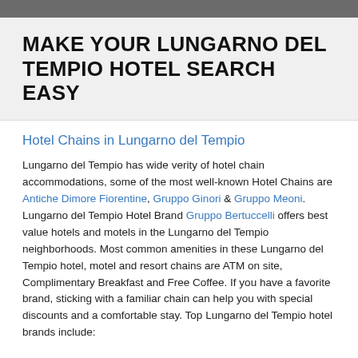MAKE YOUR LUNGARNO DEL TEMPIO HOTEL SEARCH EASY
Hotel Chains in Lungarno del Tempio
Lungarno del Tempio has wide verity of hotel chain accommodations, some of the most well-known Hotel Chains are Antiche Dimore Fiorentine, Gruppo Ginori & Gruppo Meoni. Lungarno del Tempio Hotel Brand Gruppo Bertuccelli offers best value hotels and motels in the Lungarno del Tempio neighborhoods. Most common amenities in these Lungarno del Tempio hotel, motel and resort chains are ATM on site, Complimentary Breakfast and Free Coffee. If you have a favorite brand, sticking with a familiar chain can help you with special discounts and a comfortable stay. Top Lungarno del Tempio hotel brands include:
Why The Best Hotels Lungarno del Tempio
Gruppo Zoppi Lungarno del Tempio
Geco Lungarno del Tempio
Lungarno Collection Lungarno del Tempio